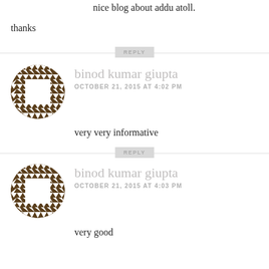nice blog about addu atoll.
thanks
binod kumar giupta
OCTOBER 21, 2015 AT 4:02 PM
very very informative
binod kumar giupta
OCTOBER 21, 2015 AT 4:03 PM
very good